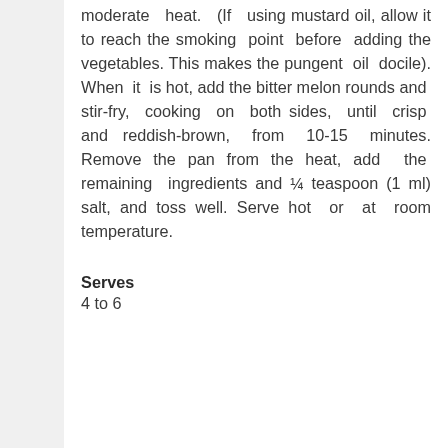moderate heat. (If using mustard oil, allow it to reach the smoking point before adding the vegetables. This makes the pungent oil docile). When it is hot, add the bitter melon rounds and stir-fry, cooking on both sides, until crisp and reddish-brown, from 10-15 minutes. Remove the pan from the heat, add the remaining ingredients and ¼ teaspoon (1 ml) salt, and toss well. Serve hot or at room temperature.
Serves
4 to 6